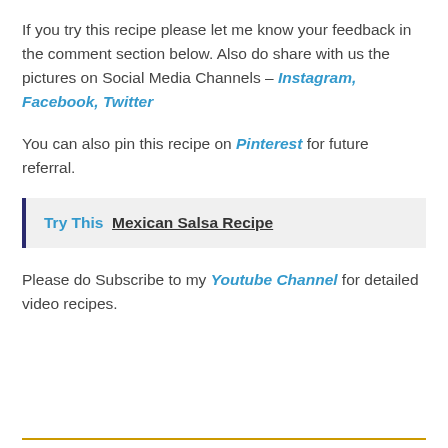If you try this recipe please let me know your feedback in the comment section below. Also do share with us the pictures on Social Media Channels – Instagram, Facebook, Twitter
You can also pin this recipe on Pinterest for future referral.
Try This  Mexican Salsa Recipe
Please do Subscribe to my Youtube Channel for detailed video recipes.